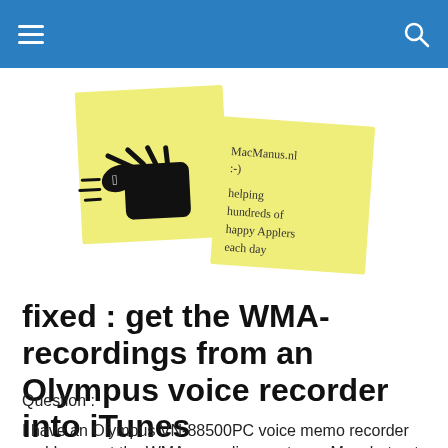[Figure (logo): Two yellow sticky notes. The left one has a hand giving a thumbs up with an Apple logo on the thumb. The right note has handwritten text: MacManus.nl :-) helping hundreds of happy Applers each day]
fixed : get the WMA-recordings from an Olympus voice recorder into iTunes
Question :
I have an Olympus VN-88500PC voice memo recorder and I can get the WMA-recordings onto my Mac, but not